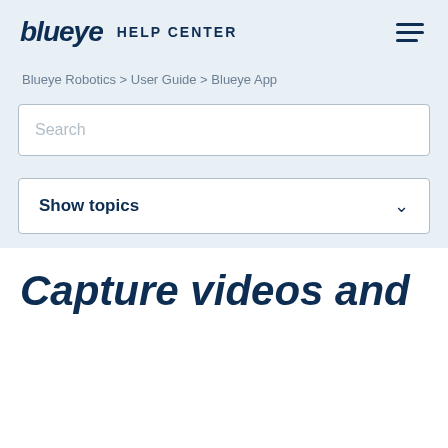blueye HELP CENTER
Blueye Robotics > User Guide > Blueye App
Search
Show topics
Capture videos and